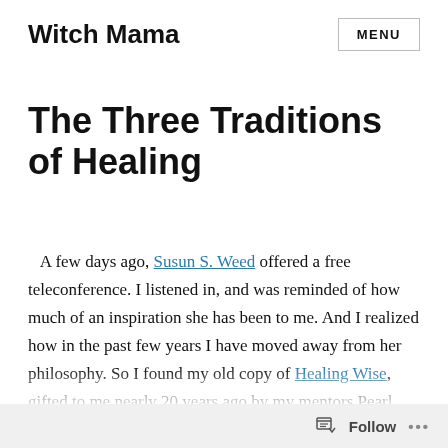Witch Mama | MENU
The Three Traditions of Healing
A few days ago, Susun S. Weed offered a free teleconference. I listened in, and was reminded of how much of an inspiration she has been to me. And I realized how in the past few years I have moved away from her philosophy. So I found my old copy of Healing Wise, gifted to me nearly 20 years ago by my mentors Pearl and Joann.
Follow ...